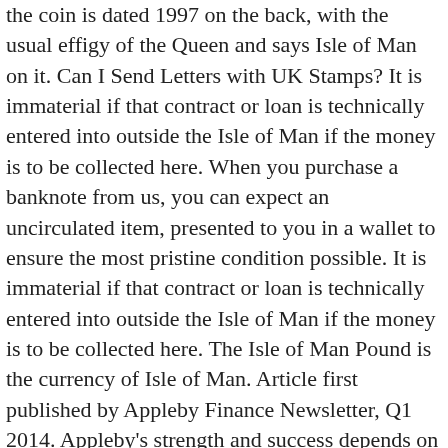the coin is dated 1997 on the back, with the usual effigy of the Queen and says Isle of Man on it. Can I Send Letters with UK Stamps? It is immaterial if that contract or loan is technically entered into outside the Isle of Man if the money is to be collected here. When you purchase a banknote from us, you can expect an uncirculated item, presented to you in a wallet to ensure the most pristine condition possible. It is immaterial if that contract or loan is technically entered into outside the Isle of Man if the money is to be collected here. The Isle of Man Pound is the currency of Isle of Man. Article first published by Appleby Finance Newsletter, Q1 2014. Appleby's strength and success depends on our commitment to recruit and develop people from the communities in which we operate. ... Nah, can't use them on the mainland. I always sell my cars here and buy in the UK as there are some real junk heaps driving around over here. The Isle of Man Government is offering a one-off contribution of up to £250 per person, per week, for returning residents travelling to the Island that are required to self-isolate, towards the costs of finding alternative accommodation, …